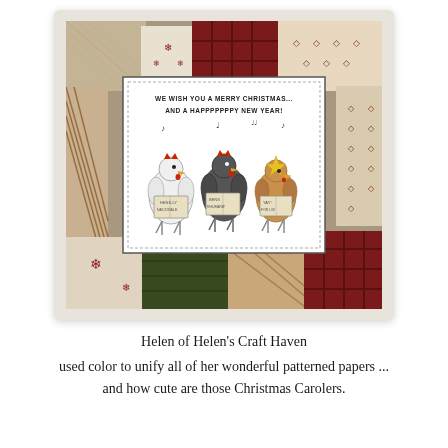[Figure (photo): A handmade Christmas card featuring three cartoon chicken carolers holding song books, stamped on white cardstock, mounted on a quilted patchwork background of red, cream, and dark green patterned papers in a square card format.]
Helen of Helen's Craft Haven
used color to unify all of her wonderful patterned papers ... and how cute are those Christmas Carolers.